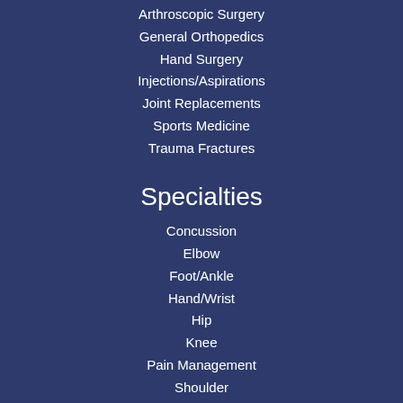Arthroscopic Surgery
General Orthopedics
Hand Surgery
Injections/Aspirations
Joint Replacements
Sports Medicine
Trauma Fractures
Specialties
Concussion
Elbow
Foot/Ankle
Hand/Wrist
Hip
Knee
Pain Management
Shoulder
Spine/Neck
Our Doctors